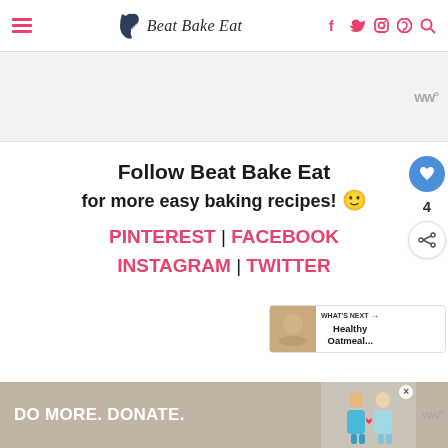Beat Bake Eat — navigation with social icons: facebook, twitter, instagram, pinterest, search
[Figure (screenshot): Gray placeholder ad area with Mediavine logo watermark on right]
Follow Beat Bake Eat
for more easy baking recipes! 🙂
PINTEREST | FACEBOOK
INSTAGRAM | TWITTER
[Figure (infographic): What's Next card showing Healthy Oatmeal... with thumbnail image]
[Figure (screenshot): Bottom advertisement banner: DO MORE. DONATE. with two figures illustration and close button]